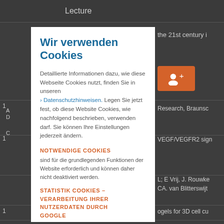Lecture
the 21st century i
[Figure (screenshot): Cookie consent modal dialog overlay on a dark website background. Modal is white with blue title 'Wir verwenden Cookies', body text in German explaining cookie usage, an orange button with user icon, sections for 'NOTWENDIGE COOKIES' and 'STATISTIK COOKIES – VERARBEITUNG IHRER NUTZERDATEN DURCH GOOGLE' in orange uppercase headers.]
Research, Braunsc
VEGF/VEGFR2 sign
L; E Vrij, J. Rouwke
CA. van Blitterswijt
ogels for 3D cell cu